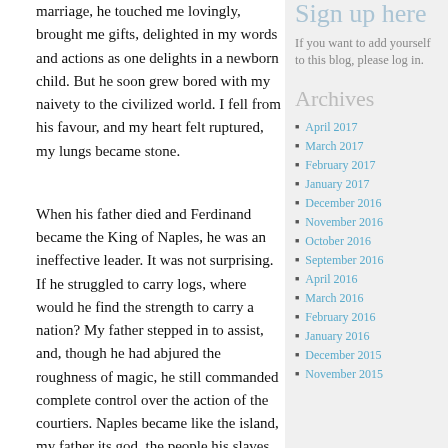marriage, he touched me lovingly, brought me gifts, delighted in my words and actions as one delights in a newborn child. But he soon grew bored with my naivety to the civilized world. I fell from his favour, and my heart felt ruptured, my lungs became stone.
When his father died and Ferdinand became the King of Naples, he was an ineffective leader. It was not surprising. If he struggled to carry logs, where would he find the strength to carry a nation? My father stepped in to assist, and, though he had abjured the roughness of magic, he still commanded complete control over the action of the courtiers. Naples became like the island, my father its god, the people his slaves.
Sign up here
If you want to add yourself to this blog, please log in.
Archives
April 2017
March 2017
February 2017
January 2017
December 2016
November 2016
October 2016
September 2016
April 2016
March 2016
February 2016
January 2016
December 2015
November 2015